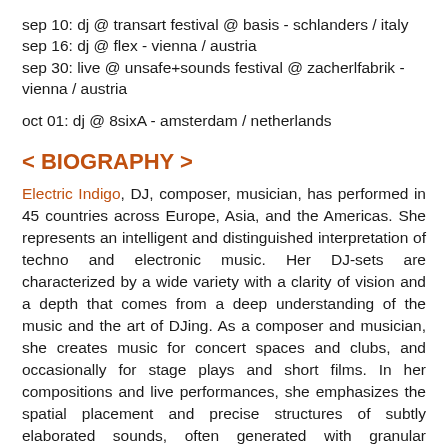sep 10: dj @ transart festival @ basis - schlanders / italy
sep 16: dj @ flex - vienna / austria
sep 30: live @ unsafe+sounds festival @ zacherlfabrik - vienna / austria
oct 01: dj @ 8sixA - amsterdam / netherlands
< BIOGRAPHY >
Electric Indigo, DJ, composer, musician, has performed in 45 countries across Europe, Asia, and the Americas. She represents an intelligent and distinguished interpretation of techno and electronic music. Her DJ-sets are characterized by a wide variety with a clarity of vision and a depth that comes from a deep understanding of the music and the art of DJing. As a composer and musician, she creates music for concert spaces and clubs, and occasionally for stage plays and short films. In her compositions and live performances, she emphasizes the spatial placement and precise structures of subtly elaborated sounds, often generated with granular synthesis. Her composition "Brittle" will be come out on Ventil Records in spring 2022.The Republic of Austria awarded Electric Indigo the Kunstpreis